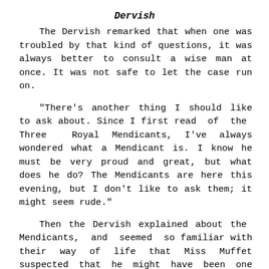Dervish
The Dervish remarked that when one was troubled by that kind of questions, it was always better to consult a wise man at once. It was not safe to let the case run on.
"There's another thing I should like to ask about. Since I first read of the Three Royal Mendicants, I've always wondered what a Mendicant is. I know he must be very proud and great, but what does he do? The Mendicants are here this evening, but I don't like to ask them; it might seem rude."
Then the Dervish explained about the Mendicants, and seemed so familiar with their way of life that Miss Muffet suspected that he might have been one himself. He explained too about the Calendars.